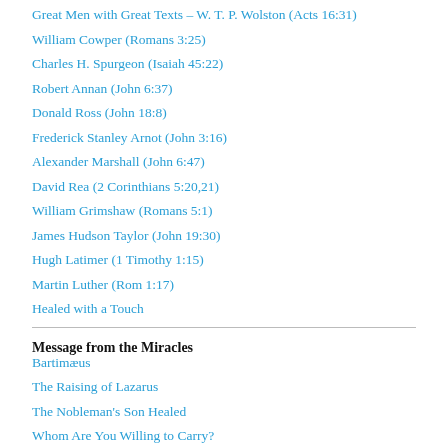Great Men with Great Texts – W. T. P. Wolston (Acts 16:31)
William Cowper (Romans 3:25)
Charles H. Spurgeon (Isaiah 45:22)
Robert Annan (John 6:37)
Donald Ross (John 18:8)
Frederick Stanley Arnot (John 3:16)
Alexander Marshall (John 6:47)
David Rea (2 Corinthians 5:20,21)
William Grimshaw (Romans 5:1)
James Hudson Taylor (John 19:30)
Hugh Latimer (1 Timothy 1:15)
Martin Luther (Rom 1:17)
Healed with a Touch
Message from the Miracles
Bartimæus
The Raising of Lazarus
The Nobleman's Son Healed
Whom Are You Willing to Carry?